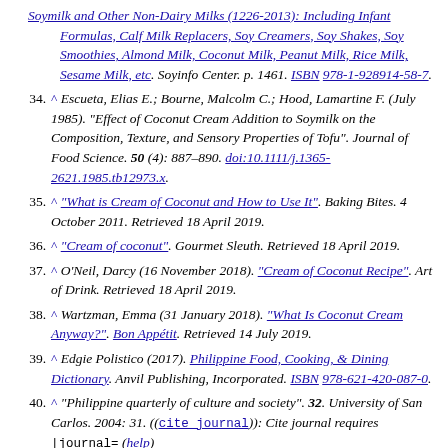(continuation) Soymilk and Other Non-Dairy Milks (1226-2013): Including Infant Formulas, Calf Milk Replacers, Soy Creamers, Soy Shakes, Soy Smoothies, Almond Milk, Coconut Milk, Peanut Milk, Rice Milk, Sesame Milk, etc. Soyinfo Center. p. 1461. ISBN 978-1-928914-58-7.
34. ^ Escueta, Elias E.; Bourne, Malcolm C.; Hood, Lamartine F. (July 1985). "Effect of Coconut Cream Addition to Soymilk on the Composition, Texture, and Sensory Properties of Tofu". Journal of Food Science. 50 (4): 887–890. doi:10.1111/j.1365-2621.1985.tb12973.x.
35. ^ "What is Cream of Coconut and How to Use It". Baking Bites. 4 October 2011. Retrieved 18 April 2019.
36. ^ "Cream of coconut". Gourmet Sleuth. Retrieved 18 April 2019.
37. ^ O'Neil, Darcy (16 November 2018). "Cream of Coconut Recipe". Art of Drink. Retrieved 18 April 2019.
38. ^ Wartzman, Emma (31 January 2018). "What Is Coconut Cream Anyway?". Bon Appétit. Retrieved 14 July 2019.
39. ^ Edgie Polistico (2017). Philippine Food, Cooking, & Dining Dictionary. Anvil Publishing, Incorporated. ISBN 978-621-420-087-0.
40. ^ "Philippine quarterly of culture and society". 32. University of San Carlos. 2004: 31. ((cite journal)): Cite journal requires |journal= (help)
41. ^ Thampan, Palakasseril Kumaran (1981). Handbook on